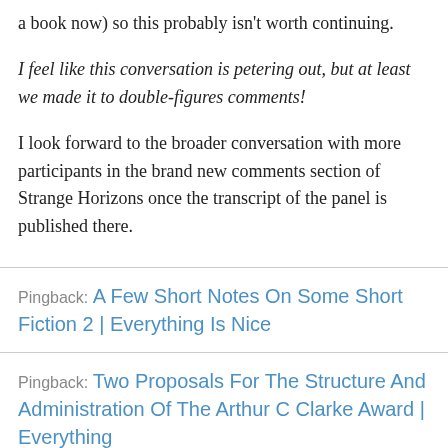a book now) so this probably isn't worth continuing.
I feel like this conversation is petering out, but at least we made it to double-figures comments!
I look forward to the broader conversation with more participants in the brand new comments section of Strange Horizons once the transcript of the panel is published there.
Pingback: A Few Short Notes On Some Short Fiction 2 | Everything Is Nice
Pingback: Two Proposals For The Structure And Administration Of The Arthur C Clarke Award | Everything